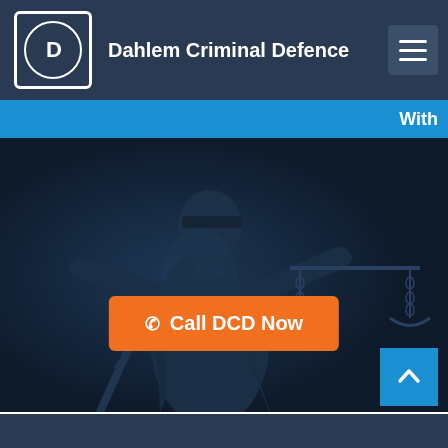Dahlem Criminal Defence
With
[Figure (photo): Dark blue-tinted statue of Lady Justice holding scales, photographed against dark background, used as hero image for law firm website]
☎ Call DCD Now